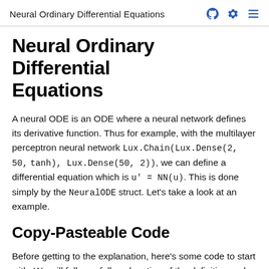Neural Ordinary Differential Equations
Neural Ordinary Differential Equations
A neural ODE is an ODE where a neural network defines its derivative function. Thus for example, with the multilayer perceptron neural network Lux.Chain(Lux.Dense(2, 50, tanh), Lux.Dense(50, 2)), we can define a differential equation which is u' = NN(u). This is done simply by the NeuralODE struct. Let's take a look at an example.
Copy-Pasteable Code
Before getting to the explanation, here's some code to start with. We will follow a full explanation of the definition and training process.